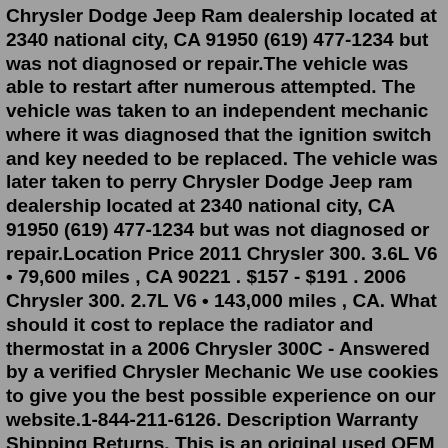Chrysler Dodge Jeep Ram dealership located at 2340 national city, CA 91950 (619) 477-1234 but was not diagnosed or repair.The vehicle was able to restart after numerous attempted. The vehicle was taken to an independent mechanic where it was diagnosed that the ignition switch and key needed to be replaced. The vehicle was later taken to perry Chrysler Dodge Jeep ram dealership located at 2340 national city, CA 91950 (619) 477-1234 but was not diagnosed or repair.Location Price 2011 Chrysler 300. 3.6L V6 • 79,600 miles , CA 90221 . $157 - $191 . 2006 Chrysler 300. 2.7L V6 • 143,000 miles , CA. What should it cost to replace the radiator and thermostat in a 2006 Chrysler 300C - Answered by a verified Chrysler Mechanic We use cookies to give you the best possible experience on our website.1-844-211-6126. Description Warranty Shipping Returns. This is an original used OEM Ignition Switch W/Key that's guaranteed to fit a 2006 Chrysler 300 with the applicable vehicle manufacturer's specifications (). LX, 4DR. Less Details.Buy ignition coil with free